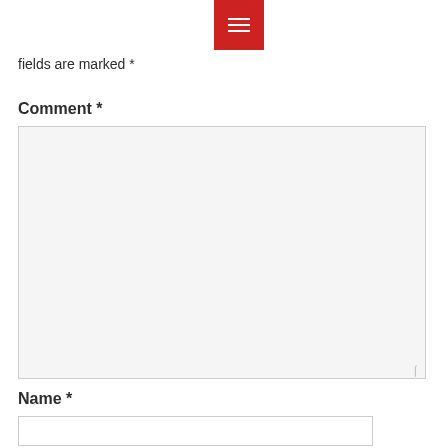[Figure (other): Red hamburger menu button with three white horizontal lines]
fields are marked *
Comment *
[Figure (other): Large comment text area input box with resize handle]
Name *
[Figure (other): Name text input field]